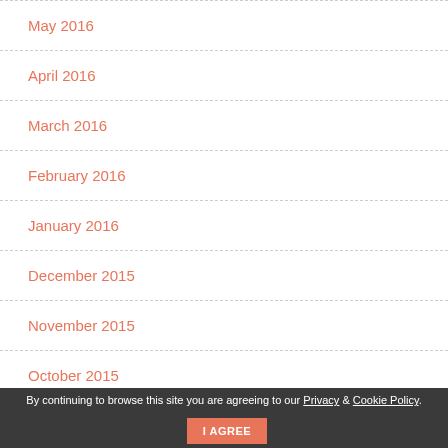May 2016
April 2016
March 2016
February 2016
January 2016
December 2015
November 2015
October 2015
September 2015
By continuing to browse this site you are agreeing to our Privacy & Cookie Policy. I AGREE